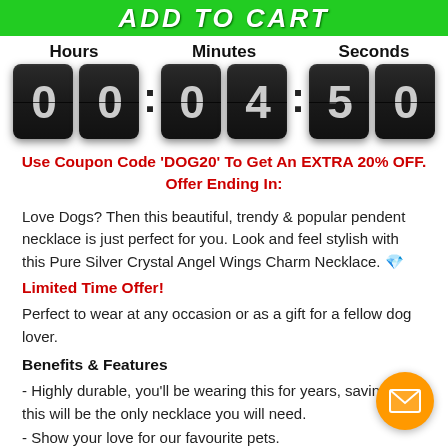[Figure (other): Green ADD TO CART button banner at top]
[Figure (other): Countdown timer showing 00:04:50 with flip clock digit tiles, labeled Hours, Minutes, Seconds]
Use Coupon Code 'DOG20' To Get An EXTRA 20% OFF. Offer Ending In:
Love Dogs? Then this beautiful, trendy & popular pendent necklace is just perfect for you. Look and feel stylish with this Pure Silver Crystal Angel Wings Charm Necklace. 💎
Limited Time Offer!
Perfect to wear at any occasion or as a gift for a fellow dog lover.
Benefits & Features
- Highly durable, you'll be wearing this for years, saving mo... this will be the only necklace you will need.
- Show your love for our favourite pets.